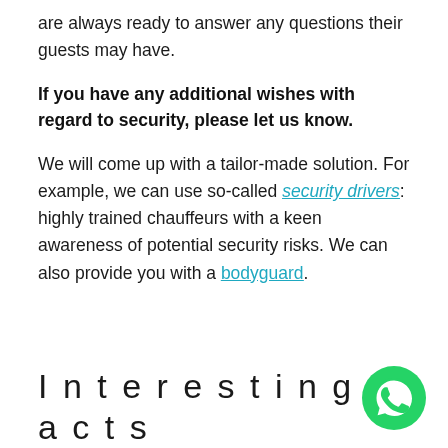are always ready to answer any questions their guests may have.
If you have any additional wishes with regard to security, please let us know.
We will come up with a tailor-made solution. For example, we can use so-called security drivers: highly trained chauffeurs with a keen awareness of potential security risks. We can also provide you with a bodyguard.
Interesting facts